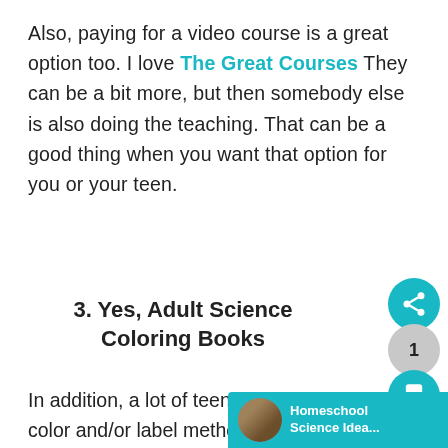Also, paying for a video course is a great option too. I love The Great Courses They can be a bit more, but then somebody else is also doing the teaching. That can be a good thing when you want that option for you or your teen.
3. Yes, Adult Science Coloring Books
In addition, a lot of teens love to learn by the color and/or label method. It wasn't too long ago that